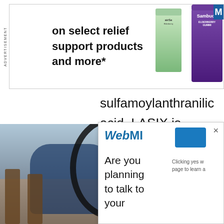[Figure (other): Advertisement banner with text 'on select relief support products and more*' and product images of supplement bottles including Sambucol gummies]
sulfamoylanthranilic acid. LASIX is white tablets for oral administration strengths of 20, 40 and 80 mg. Fu white to off-white odorless crysta practically insoluble in water, spa alcohol, freely soluble in dilute alk
[Figure (photo): Photo of an older bearded man in a blue shirt sitting indoors working on a bicycle wheel]
[Figure (other): WebMD popup overlay with logo, blue button, and text 'Are you planning to talk to your' with subtext 'Clicking yes w... page to learn a...']